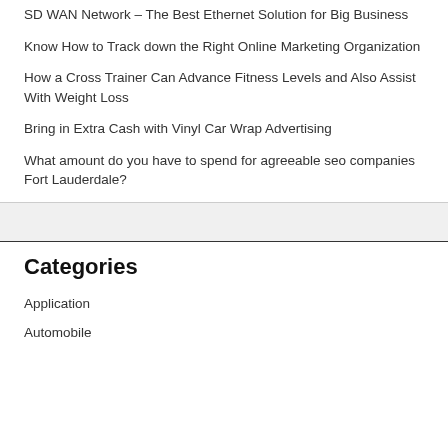SD WAN Network – The Best Ethernet Solution for Big Business
Know How to Track down the Right Online Marketing Organization
How a Cross Trainer Can Advance Fitness Levels and Also Assist With Weight Loss
Bring in Extra Cash with Vinyl Car Wrap Advertising
What amount do you have to spend for agreeable seo companies Fort Lauderdale?
Categories
Application
Automobile